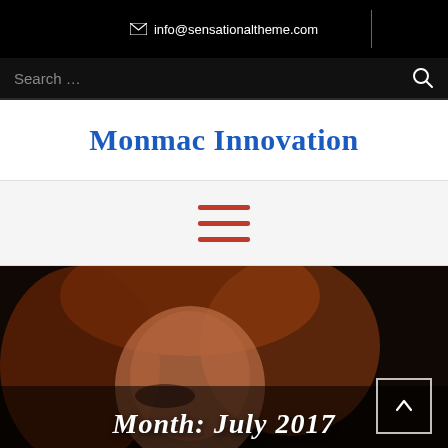✉ info@sensationaltheme.com
Search …
Monmac Innovation
[Figure (illustration): Hamburger menu icon with three red horizontal lines]
[Figure (photo): Dark portrait photo of a red-haired woman with dramatic makeup, partially visible face]
Month: July 2017